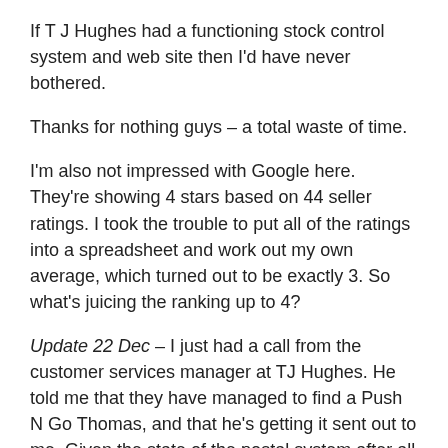If T J Hughes had a functioning stock control system and web site then I'd have never bothered.
Thanks for nothing guys – a total waste of time.
I'm also not impressed with Google here. They're showing 4 stars based on 44 seller ratings. I took the trouble to put all of the ratings into a spreadsheet and work out my own average, which turned out to be exactly 3. So what's juicing the ranking up to 4?
Update 22 Dec – I just had a call from the customer services manager at TJ Hughes. He told me that they have managed to find a Push N Go Thomas, and that he's getting it sent out to me. Given the state of the postal system after all the snow we've had neither of us expects delivery before Christmas, but still it's a nice gesture.